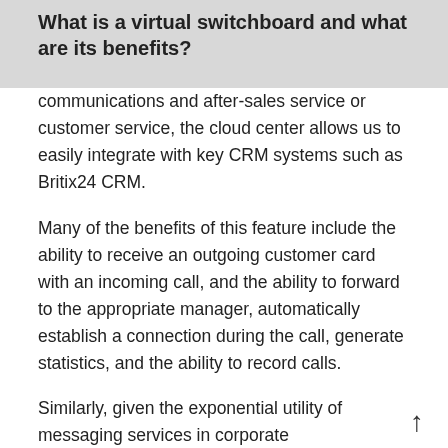What is a virtual switchboard and what are its benefits?
communications and after-sales service or customer service, the cloud center allows us to easily integrate with key CRM systems such as Britix24 CRM.
Many of the benefits of this feature include the ability to receive an outgoing customer card with an incoming call, and the ability to forward to the appropriate manager, automatically establish a connection during the call, generate statistics, and the ability to record calls.
Similarly, given the exponential utility of messaging services in corporate communications, virtual telephone service provides us with a combination of the world’s largest open providers such as Telegram, Facebook Messenger and Slack.